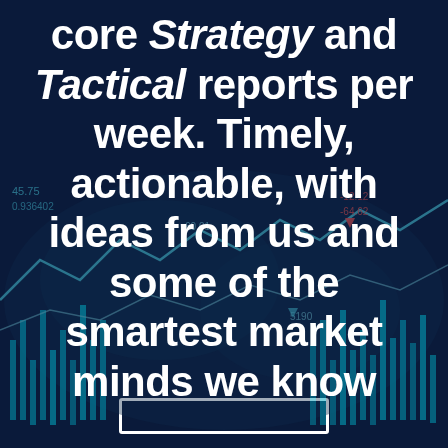[Figure (infographic): Dark navy blue background with financial stock market chart overlay showing candlestick bars, line graphs, price numbers (45.75, 0.936402, 60.01, -12.12, -64.62, 5190) and a world map silhouette in teal/cyan tones.]
core Strategy and Tactical reports per week. Timely, actionable, with ideas from us and some of the smartest market minds we know